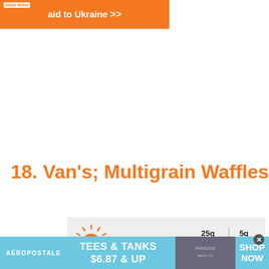[Figure (other): Orange banner advertisement for Direct Relief aid to Ukraine with logo and arrows]
18. Van's; Multigrain Waffles
[Figure (other): Product advertisement banner showing sun logo with 25g whole grains and 5g protein stats]
[Figure (other): Aeropostale advertisement banner: TEES & TANKS $6.87 & UP with SHOP NOW call to action]